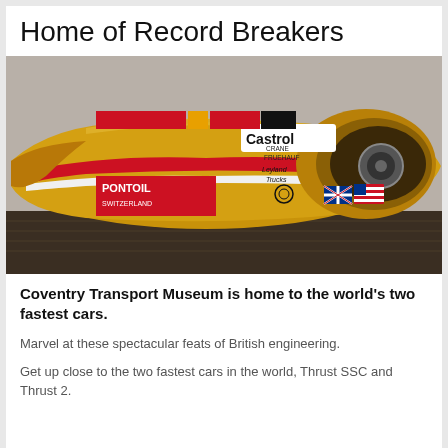Home of Record Breakers
[Figure (photo): A gold streamlined land speed record car (Thrust 2 or similar) with Castrol, Pontoil, Crane Fruehauf, Leyland Trucks sponsorship logos, British and American flags on its body, displayed indoors on a wooden floor.]
Coventry Transport Museum is home to the world's two fastest cars.
Marvel at these spectacular feats of British engineering.
Get up close to the two fastest cars in the world, Thrust SSC and Thrust 2.